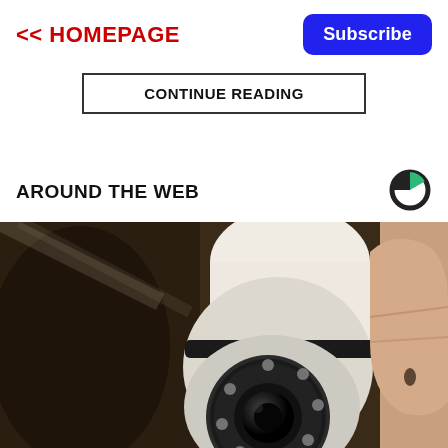<< HOMEPAGE
Subscribe
CONTINUE READING
AROUND THE WEB
[Figure (photo): Close-up photo of a white security camera with a circular lens array, being held by a hand against a dark background.]